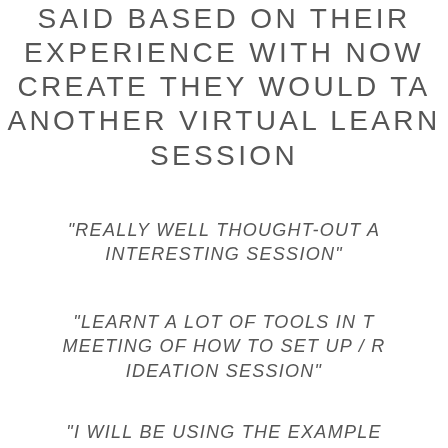SAID BASED ON THEIR EXPERIENCE WITH NOW CREATE THEY WOULD TAKE ANOTHER VIRTUAL LEARNING SESSION
"REALLY WELL THOUGHT-OUT AND INTERESTING SESSION"
"LEARNT A LOT OF TOOLS IN THE MEETING OF HOW TO SET UP / RUN AN IDEATION SESSION"
"I WILL BE USING THE EXAMPLE...